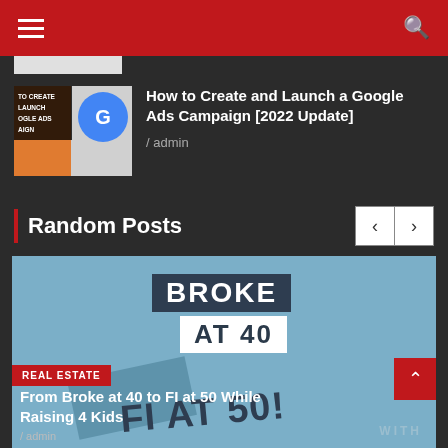Navigation bar with hamburger menu and search icon
[Figure (screenshot): Thumbnail for Google Ads Campaign article - orange and blue Google logo image with text overlay]
How to Create and Launch a Google Ads Campaign [2022 Update]
/ admin
Random Posts
[Figure (photo): Promotional graphic with text 'BROKE AT 40, FI AT 50!' on a blue background with dark banner labels]
REAL ESTATE
From Broke at 40 to FI at 50 While Raising 4 Kids
/ admin